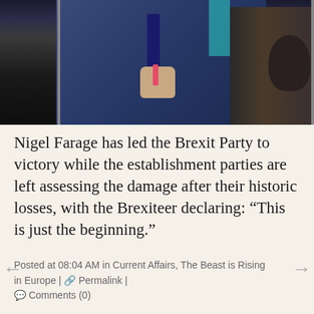[Figure (photo): Photo of Nigel Farage in a blue suit with dotted tie, raising a fist, with a microphone visible at right edge and teal background element]
Nigel Farage has led the Brexit Party to victory while the establishment parties are left assessing the damage after their historic losses, with the Brexiteer declaring: “This is just the beginning.”
Posted at 08:04 AM in Current Affairs, The Beast is Rising in Europe | 🔗 Permalink | 💬 Comments (0)